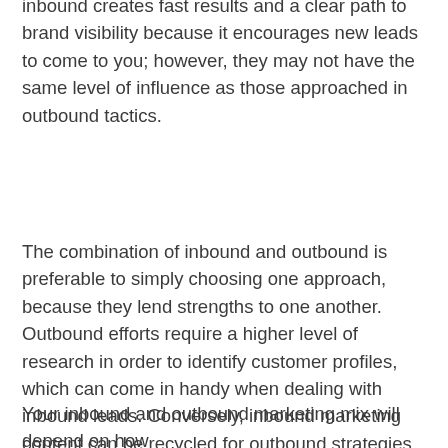inbound creates fast results and a clear path to brand visibility because it encourages new leads to come to you; however, they may not have the same level of influence as those approached in outbound tactics.
The combination of inbound and outbound is preferable to simply choosing one approach, because they lend strengths to one another. Outbound efforts require a higher level of research in order to identify customer profiles, which can come in handy when dealing with inbound leads. Conversely, inbound marketing content can be recycled for outbound strategies and repurposed to fit specific customer profiles. This will further engage your outbound leads, and make them feel that you understand their wants and needs with fresh content instead of staunch and more traditional approaches.
Your inbound and outbound marketing mix will depend on how